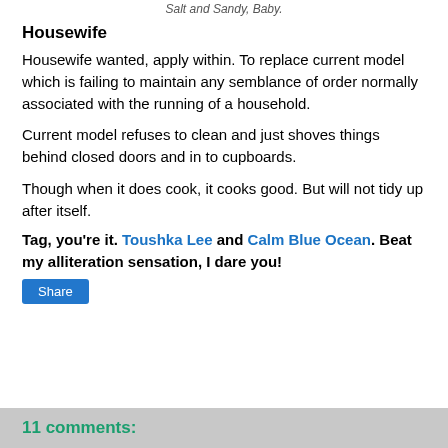Salt and Sandy, Baby.
Housewife
Housewife wanted, apply within. To replace current model which is failing to maintain any semblance of order normally associated with the running of a household.
Current model refuses to clean and just shoves things behind closed doors and in to cupboards.
Though when it does cook, it cooks good. But will not tidy up after itself.
Tag, you're it. Toushka Lee and Calm Blue Ocean. Beat my alliteration sensation, I dare you!
Share
11 comments: